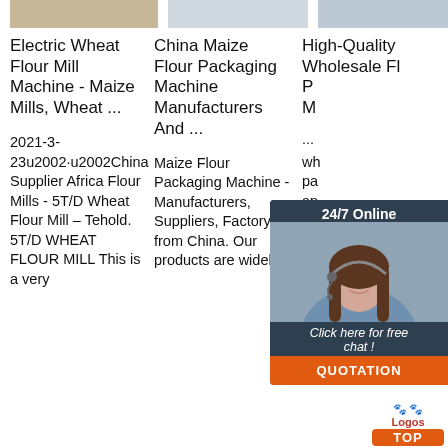[Figure (photo): Top strip showing partial product images (flour mill machines), cropped at top of page]
Electric Wheat Flour Mill Machine - Maize Mills, Wheat ...
China Maize Flour Packaging Machine Manufacturers And ...
High-Quality Wholesale Fl... P... M...
2021-3-23u2002·u2002China Supplier Africa Flour Mills - 5T/D Wheat Flour Mill – Tehold. 5T/D WHEAT FLOUR MILL This is a very ...
Maize Flour Packaging Machine - Manufacturers, Suppliers, Factory from China. Our products are widely
... wh pa an beautiful designs and colors. Logos can be embossed on
[Figure (screenshot): 24/7 Online chat widget with photo of woman with headset, 'Click here for free chat!' text, and orange QUOTATION button]
[Figure (logo): LogosTop logo with orange paw prints and orange TOP text badge]